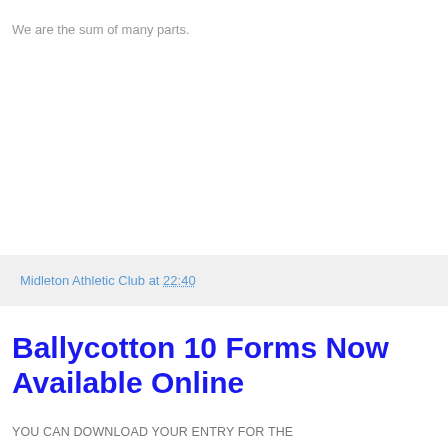We are the sum of many parts.
Midleton Athletic Club at 22:40
Ballycotton 10 Forms Now Available Online
YOU CAN DOWNLOAD YOUR ENTRY FOR THE